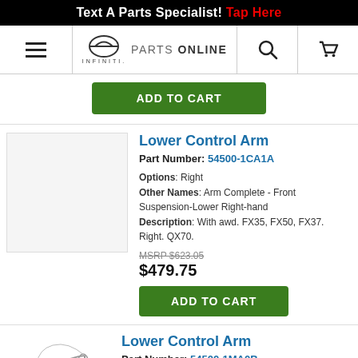Text A Parts Specialist! Tap Here
[Figure (logo): Infiniti Parts Online navigation bar with hamburger menu, Infiniti logo, search icon, and cart icon]
ADD TO CART
Lower Control Arm
Part Number: 54500-1CA1A
Options: Right
Other Names: Arm Complete - Front Suspension-Lower Right-hand
Description: With awd. FX35, FX50, FX37. Right. QX70.
MSRP $623.05
$479.75
ADD TO CART
Lower Control Arm
Part Number: 54500-1MA0B